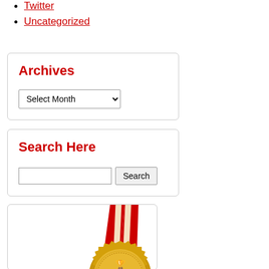Twitter
Uncategorized
Archives
Search Here
[Figure (illustration): Gold medal badge with red and white ribbon, text reading AWARDED TOP 100 CAREER BLOG]